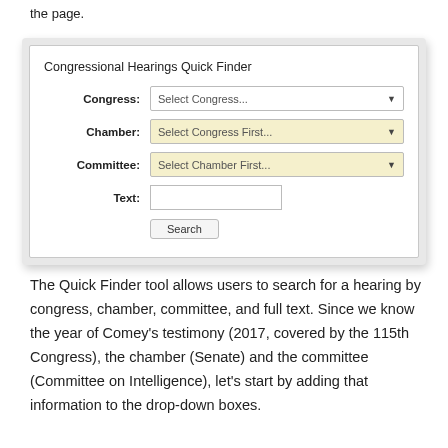the page.
[Figure (screenshot): Congressional Hearings Quick Finder form with fields: Congress (Select Congress... dropdown), Chamber (Select Congress First... dropdown, yellow background), Committee (Select Chamber First... dropdown, yellow background), Text (text input), and a Search button.]
The Quick Finder tool allows users to search for a hearing by congress, chamber, committee, and full text. Since we know the year of Comey's testimony (2017, covered by the 115th Congress), the chamber (Senate) and the committee (Committee on Intelligence), let's start by adding that information to the drop-down boxes.